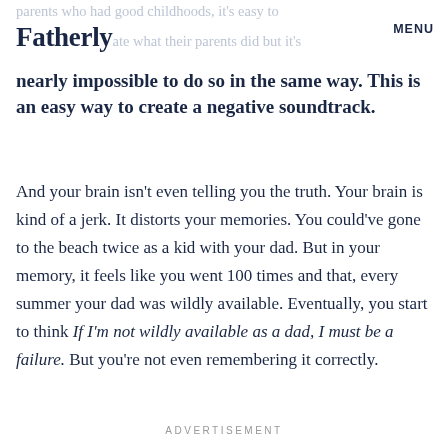Fatherly | MENU
nearly impossible to do so in the same way. This is an easy way to create a negative soundtrack.
And your brain isn't even telling you the truth. Your brain is kind of a jerk. It distorts your memories. You could've gone to the beach twice as a kid with your dad. But in your memory, it feels like you went 100 times and that, every summer your dad was wildly available. Eventually, you start to think If I'm not wildly available as a dad, I must be a failure. But you're not even remembering it correctly.
ADVERTISEMENT